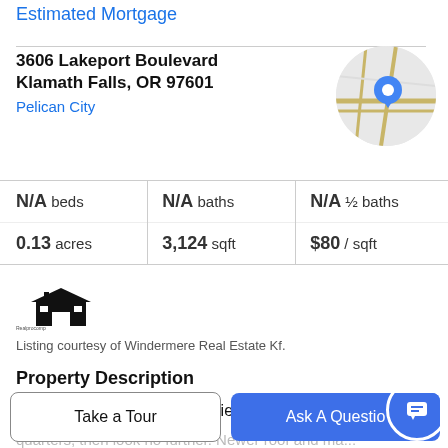Estimated Mortgage
3606 Lakeport Boulevard
Klamath Falls, OR 97601
Pelican City
[Figure (map): Circular map thumbnail showing street map with a blue location pin marker]
| N/A beds | N/A baths | N/A ½ baths |
| 0.13 acres | 3,124 sqft | $80 / sqft |
[Figure (logo): Small pixelated house/building logo for a real estate company]
Listing courtesy of Windermere Real Estate Kf.
Property Description
Looking for your own convenience store and living quarters, then look no further. Newer roof and ma...